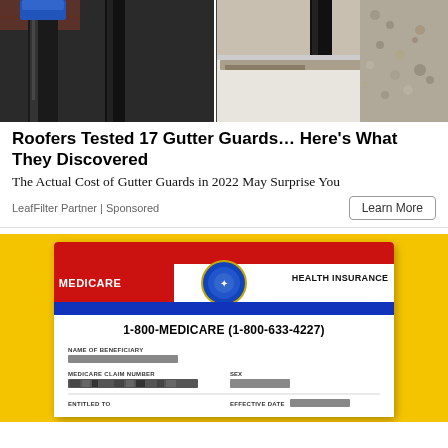[Figure (photo): Close-up photo of gutter guards being tested, showing a black downspout on the left and a clogged/dirty gutter trough on the right, with gravel visible]
Roofers Tested 17 Gutter Guards… Here's What They Discovered
The Actual Cost of Gutter Guards in 2022 May Surprise You
LeafFilter Partner | Sponsored
Learn More
[Figure (photo): Medicare Health Insurance card on a yellow background showing 1-800-MEDICARE (1-800-633-4227), NAME OF BENEFICIARY field with redacted name, MEDICARE CLAIM NUMBER with redacted number, SEX field with redacted info, and EFFECTIVE DATE label]